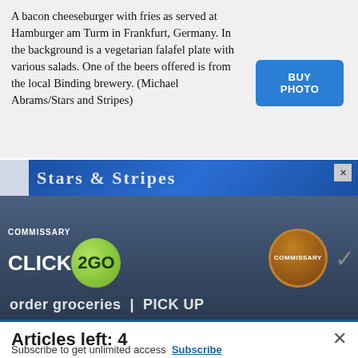A bacon cheeseburger with fries as served at Hamburger am Turm in Frankfurt, Germany. In the background is a vegetarian falafel plate with various salads. One of the beers offered is from the local Binding brewery. (Michael Abrams/Stars and Stripes)
[Figure (screenshot): Blue 'BUY PHOTO' button]
[Figure (screenshot): Advertisement area: Stars and Stripes banner at top, Commissary Click2Go ad with green circle logo and Commissary badge, order groceries text at bottom]
Articles left: 4
Subscribe to get unlimited access  Subscribe
Already have an account?  Login here